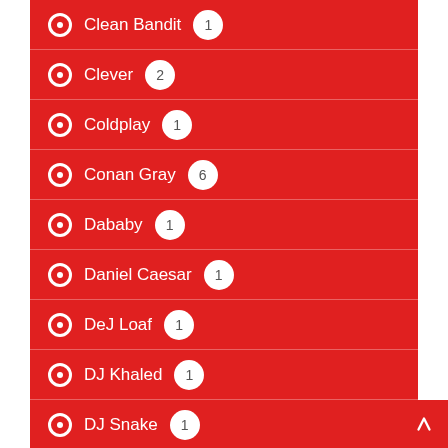Clean Bandit 1
Clever 2
Coldplay 1
Conan Gray 6
Dababy 1
Daniel Caesar 1
DeJ Loaf 1
DJ Khaled 1
DJ Snake 1